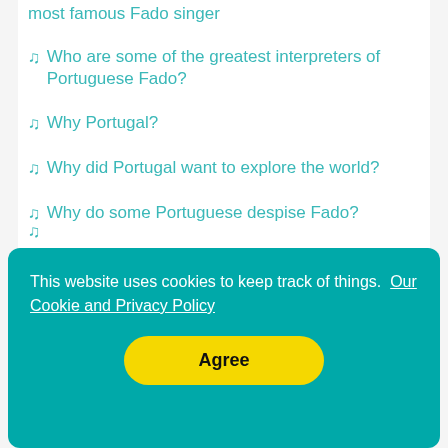most famous Fado singer
♪ Who are some of the greatest interpreters of Portuguese Fado?
♪ Why Portugal?
♪ Why did Portugal want to explore the world?
♪ Why do some Portuguese despise Fado?
This website uses cookies to keep track of things.  Our Cookie and Privacy Policy
Agree